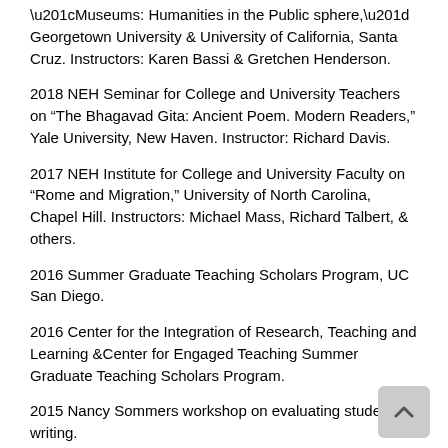“Museums: Humanities in the Public sphere,” Georgetown University & University of California, Santa Cruz. Instructors: Karen Bassi & Gretchen Henderson.
2018 NEH Seminar for College and University Teachers on “The Bhagavad Gita: Ancient Poem. Modern Readers,” Yale University, New Haven. Instructor: Richard Davis.
2017 NEH Institute for College and University Faculty on “Rome and Migration,” University of North Carolina, Chapel Hill. Instructors: Michael Mass, Richard Talbert, & others.
2016 Summer Graduate Teaching Scholars Program, UC San Diego.
2016 Center for the Integration of Research, Teaching and Learning &Center for Engaged Teaching Summer Graduate Teaching Scholars Program.
2015 Nancy Sommers workshop on evaluating student writing.
2009 Making of the Modern World (UC San Diego) Pedagogy Seminar.